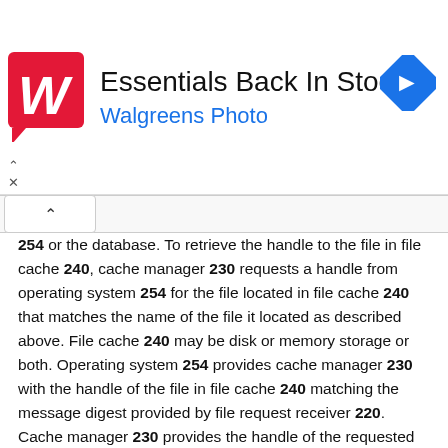[Figure (other): Walgreens Photo advertisement banner with logo, 'Essentials Back In Stock' headline, blue subtitle, and navigation arrow icon]
254 or the database. To retrieve the handle to the file in file cache 240, cache manager 230 requests a handle from operating system 254 for the file located in file cache 240 that matches the name of the file it located as described above. File cache 240 may be disk or memory storage or both. Operating system 254 provides cache manager 230 with the handle of the file in file cache 240 matching the message digest provided by file request receiver 220. Cache manager 230 provides the handle of the requested file to file request receiver 220.
In one embodiment, when file request receiver 220 receives the handle to the requested file from cache manager 230, file request receiver 220 provides the handle to the program requesting the file. In another embodiment, file request receiver 220 instead causes the file to be hashed again as described below, and then attempts to authenticate the file as described below. If the file is determined to be authentic, file request receiver 220 provides the handle to the file to the program requesting the file. If the file is determined not to be authentic as described below, file request receiver 220 treats the situation in the same manner as if cache